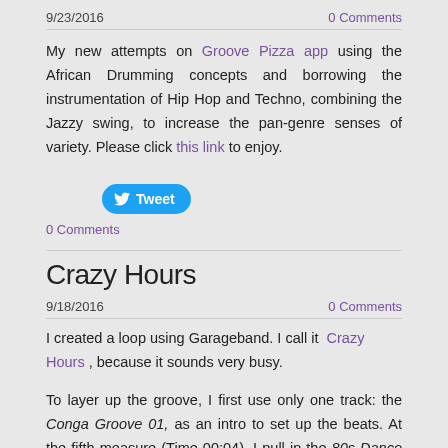9/23/2016    0 Comments
My new attempts on Groove Pizza app using the African Drumming concepts and borrowing the instrumentation of Hip Hop and Techno, combining the Jazzy swing, to increase the pan-genre senses of variety. Please click this link to enjoy.
[Figure (other): Tweet button]
0 Comments
Crazy Hours
9/18/2016    0 Comments
I created a loop using Garageband. I call it Crazy Hours , because it sounds very busy.
To layer up the groove, I first use only one track: the Conga Groove 01, as an intro to set up the beats. At the fifth measure (Time 00:04), I pull in the 80s Dance Bass Synth 01 to build up